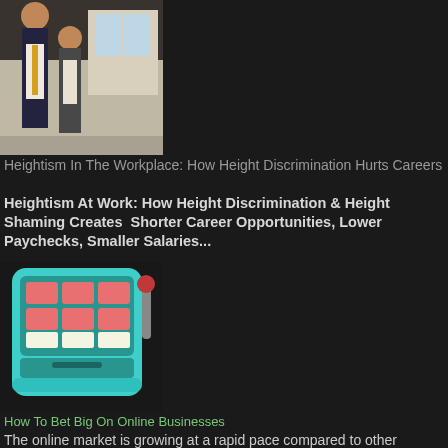[Figure (photo): Two men in business attire standing in an office environment]
Heightism In The Workplace: How Height Discrimination Hurts Careers
Heightism At Work: How Height Discrimination & Height Shaming Creates  Shorter Career Opportunities, Lower Paychecks, Smaller Salaries...
[Figure (illustration): Slot machine illustration with teal and pink colors]
How To Bet Big On Online Businesses
The online market is growing at a rapid pace compared to other industries worldwide. Everything is digital, so it's the best place to be...
[Figure (photo): Person at a meeting or conference with flowers and technology]
Most Common Cyber Security Measures In 2022
The importance of cyber security measures has risen significantly over the years. Even if the epidemic played a remarkable role, such an upt...